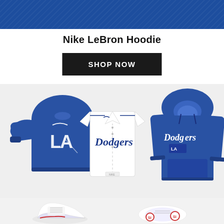[Figure (photo): Blue textured background strip at top, Nike/LeBron branding blue fabric]
Nike LeBron Hoodie
[Figure (other): Black 'SHOP NOW' call-to-action button]
[Figure (photo): Three Nike Dodgers products shown: blue LA long sleeve shirt on left, white Dodgers baseball jersey in center, blue Dodgers hoodie on right, displayed on light gray background]
[Figure (photo): Nike sneakers partially visible at bottom: two pairs of white/gray/red shoes on light background]